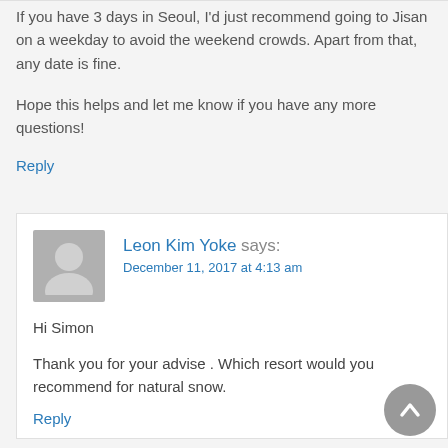If you have 3 days in Seoul, I'd just recommend going to Jisan on a weekday to avoid the weekend crowds. Apart from that, any date is fine.
Hope this helps and let me know if you have any more questions!
Reply
[Figure (illustration): Grey avatar placeholder image of a person silhouette]
Leon Kim Yoke says:
December 11, 2017 at 4:13 am
Hi Simon
Thank you for your advise . Which resort would you recommend for natural snow.
Reply